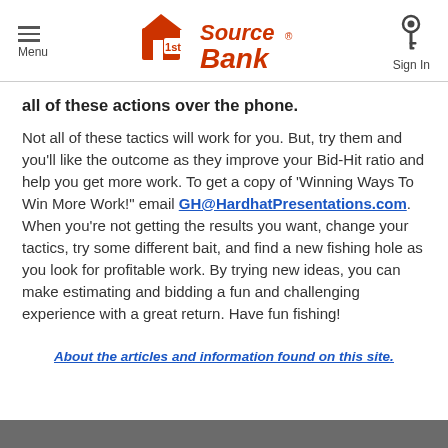Menu | 1st Source Bank | Sign In
all of these actions over the phone.
Not all of these tactics will work for you. But, try them and you'll like the outcome as they improve your Bid-Hit ratio and help you get more work. To get a copy of 'Winning Ways To Win More Work!' email GH@HardhatPresentations.com. When you're not getting the results you want, change your tactics, try some different bait, and find a new fishing hole as you look for profitable work. By trying new ideas, you can make estimating and bidding a fun and challenging experience with a great return. Have fun fishing!
About the articles and information found on this site.